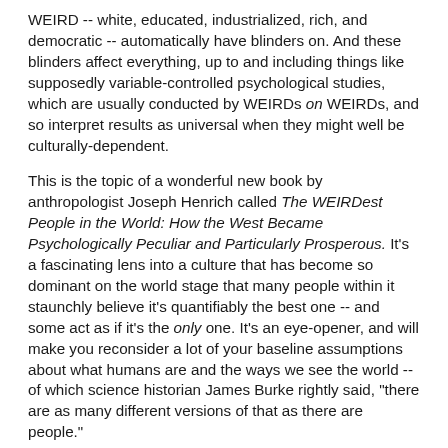WEIRD -- white, educated, industrialized, rich, and democratic -- automatically have blinders on.  And these blinders affect everything, up to and including things like supposedly variable-controlled psychological studies, which are usually conducted by WEIRDs on WEIRDs, and so interpret results as universal when they might well be culturally-dependent.
This is the topic of a wonderful new book by anthropologist Joseph Henrich called The WEIRDest People in the World: How the West Became Psychologically Peculiar and Particularly Prosperous.  It's a fascinating lens into a culture that has become so dominant on the world stage that many people within it staunchly believe it's quantifiably the best one -- and some act as if it's the only one.  It's an eye-opener, and will make you reconsider a lot of your baseline assumptions about what humans are and the ways we see the world -- of which science historian James Burke rightly said, "there are as many different versions of that as there are people."
[Note:  If you purchase this book using the image/link below,